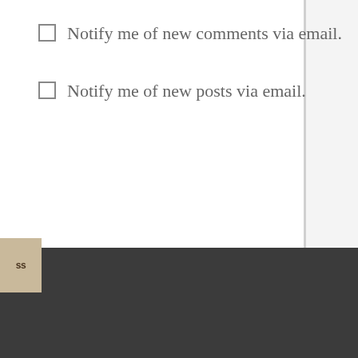Notify me of new comments via email.
Notify me of new posts via email.
[Figure (screenshot): WordPress logo badge partially visible at bottom-left corner, with dark footer background area]